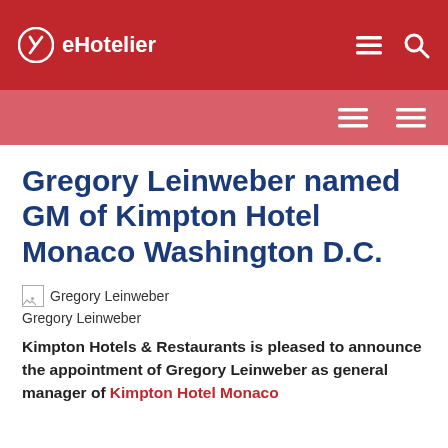eHotelier
Gregory Leinweber named GM of Kimpton Hotel Monaco Washington D.C.
[Figure (photo): Broken image placeholder for Gregory Leinweber photo]
Gregory Leinweber
Kimpton Hotels & Restaurants is pleased to announce the appointment of Gregory Leinweber as general manager of Kimpton Hotel Monaco